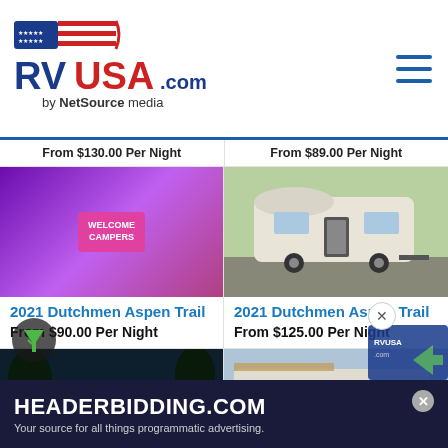RVUSA.com by NetSource media
From $130.00 Per Night
From $89.00 Per Night
[Figure (photo): Interior purple-lit room with pink welcome sign]
2021 Dutchmen Aspen Trail
From $90.00 Per Night
[Figure (photo): White travel trailer RV exterior parked outdoors]
2021 Dutchmen Aspen Trail
From $125.00 Per Night
[Figure (photo): Aspen Trail RV at night with string lights]
[Figure (photo): White travel trailer RV parked with awning]
[Figure (screenshot): HEADERBIDDING.COM advertisement banner - Your source for all things programmatic advertising.]